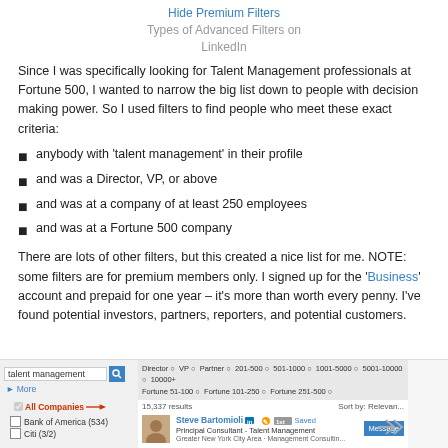Hide Premium Filters
Types of Advanced Filters on LinkedIn
Since I was specifically looking for Talent Management professionals at Fortune 500, I wanted to narrow the big list down to people with decision making power. So I used filters to find people who meet these exact criteria:
anybody with 'talent management' in their profile
and was a Director, VP, or above
and was at a company of at least 250 employees
and was at a Fortune 500 company
There are lots of other filters, but this created a nice list for me. NOTE: some filters are for premium members only. I signed up for the 'Business' account and prepaid for one year – it's more than worth every penny. I've found potential investors, partners, reporters, and potential customers.
[Figure (screenshot): LinkedIn search screenshot showing 'talent management' search with filters for Director, VP, Partner, company size 201-500, 501-1000, 1001-5000, 5001-10000, 10000+, Fortune 51-100, Fortune 101-250, Fortune 251-500, showing 15,337 results. Left panel shows All Companies selected in red with red arrow, Bank of America (534) and Citi (3/2) listed. Right panel shows Steve Bartomioli as Principal Consultant - Talent Management with a Message button and a share arrow icon.]